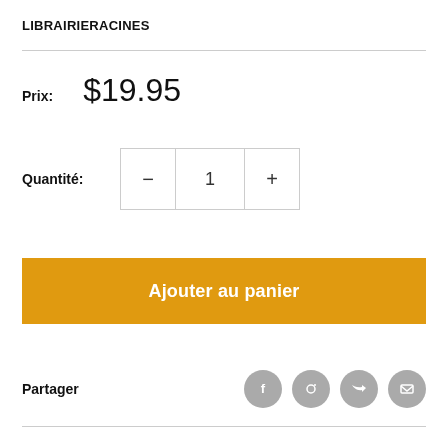LIBRAIRIERACINES
Prix: $19.95
Quantité: 1
Ajouter au panier
Partager